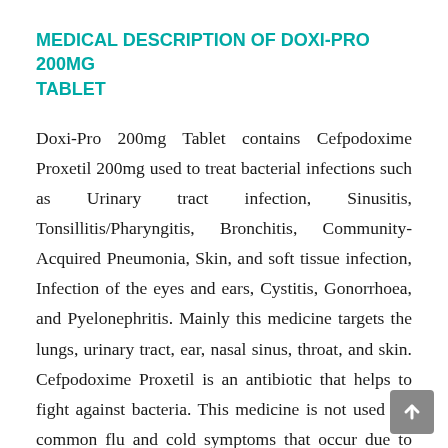MEDICAL DESCRIPTION OF DOXI-PRO 200MG TABLET
Doxi-Pro 200mg Tablet contains Cefpodoxime Proxetil 200mg used to treat bacterial infections such as Urinary tract infection, Sinusitis, Tonsillitis/Pharyngitis, Bronchitis, Community-Acquired Pneumonia, Skin, and soft tissue infection, Infection of the eyes and ears, Cystitis, Gonorrhoea, and Pyelonephritis. Mainly this medicine targets the lungs, urinary tract, ear, nasal sinus, throat, and skin. Cefpodoxime Proxetil is an antibiotic that helps to fight against bacteria. This medicine is not used for common flu and cold symptoms that occur due to viral infection. This medicine is commonly prescribed for cough